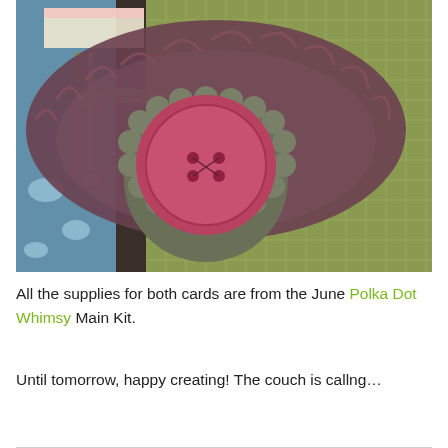[Figure (photo): Close-up photo of a scrapbook craft project featuring a large pink button with four holes mounted on a scalloped dark olive/green frame, sitting on a brown fabric oval with ruffled edges, over green grid-patterned paper and blue patterned paper. A ribbon is visible at the upper left.]
All the supplies for both cards are from the June Polka Dot Whimsy Main Kit.
Until tomorrow, happy creating! The couch is callng…